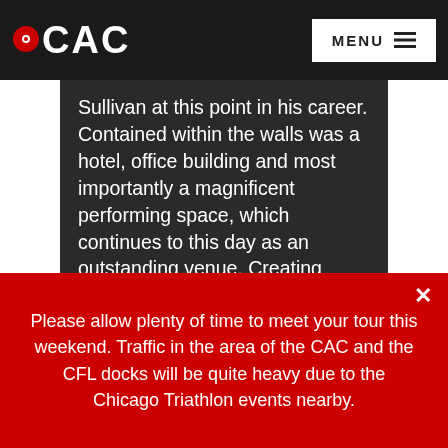CAC | MENU
Sullivan at this point in his career. Contained within the walls was a hotel, office building and most importantly a magnificent performing space, which continues to this day as an outstanding venue. Creating these interior spaces required the technical genius of Sullivan's partner, Dankmar Adler, whose skills in acoustics, foundation engineering and use of metal trusses to support the
Please allow plenty of time to meet your tour this weekend. Traffic in the area of the CAC and the CFL docks will be quite heavy due to the Chicago Triathlon events nearby.